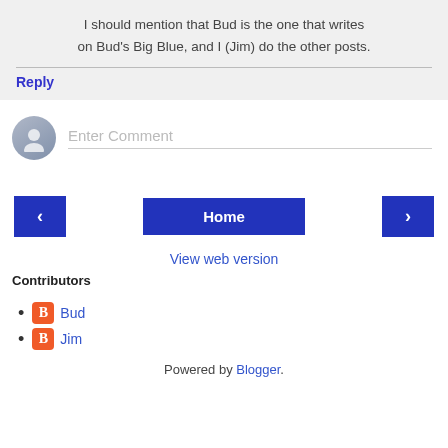I should mention that Bud is the one that writes on Bud's Big Blue, and I (Jim) do the other posts.
Reply
[Figure (other): Enter Comment input area with user avatar icon placeholder]
[Figure (other): Navigation bar with left arrow button, Home button, and right arrow button]
View web version
Contributors
Bud
Jim
Powered by Blogger.